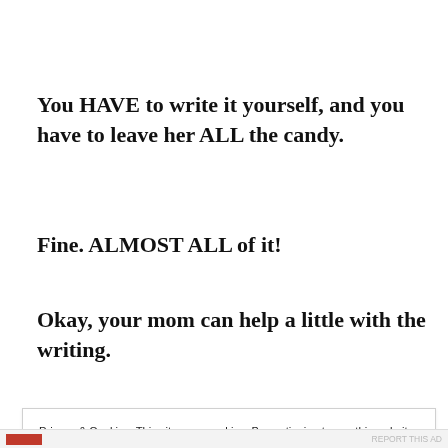You HAVE to write it yourself, and you have to leave her ALL the candy.
Fine. ALMOST ALL of it!
Okay, your mom can help a little with the writing.
Privacy & Cookies: This site uses cookies. By continuing to use this website, you agree to their use.
To find out more, including how to control cookies, see here:
Cookie Policy
Close and accept